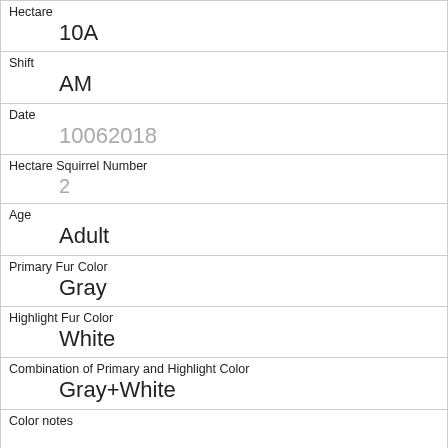| Hectare | 10A |
| Shift | AM |
| Date | 10062018 |
| Hectare Squirrel Number | 2 |
| Age | Adult |
| Primary Fur Color | Gray |
| Highlight Fur Color | White |
| Combination of Primary and Highlight Color | Gray+White |
| Color notes |  |
| Location | Ground Plane |